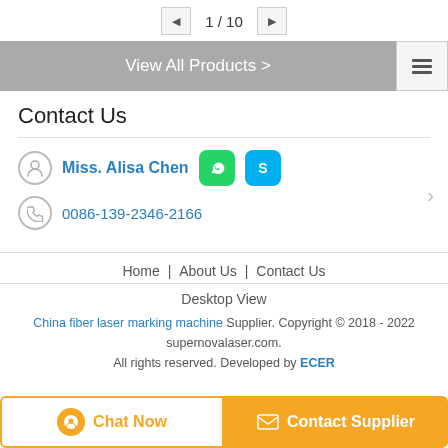1 / 10
View All Products >
Contact Us
Miss. Alisa Chen
0086-139-2346-2166
Home | About Us | Contact Us
Desktop View
China fiber laser marking machine Supplier. Copyright © 2018 - 2022 supernovalaser.com.
All rights reserved. Developed by ECER
Chat Now
Contact Supplier